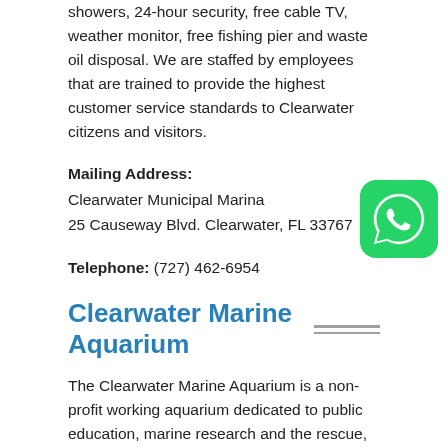showers, 24-hour security, free cable TV, weather monitor, free fishing pier and waste oil disposal. We are staffed by employees that are trained to provide the highest customer service standards to Clearwater citizens and visitors.
Mailing Address:
Clearwater Municipal Marina
25 Causeway Blvd. Clearwater, FL 33767
Telephone: (727) 462-6954
Clearwater Marine Aquarium
The Clearwater Marine Aquarium is a non-profit working aquarium dedicated to public education, marine research and the rescue, rehabilitation and release of injured sick marine mammals, otters and sea turtles.
249 Windward Passage, Clearwater, FL 33767